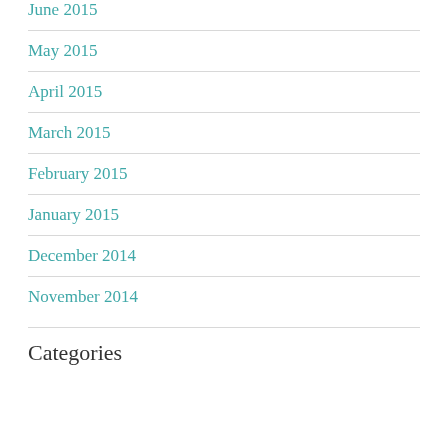June 2015
May 2015
April 2015
March 2015
February 2015
January 2015
December 2014
November 2014
Categories